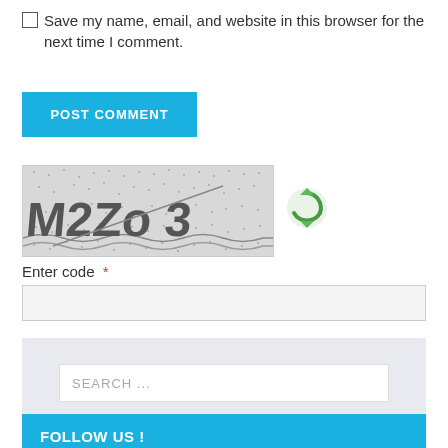Save my name, email, and website in this browser for the next time I comment.
[Figure (screenshot): POST COMMENT button - blue rectangular button with white bold text]
[Figure (screenshot): CAPTCHA image showing distorted text 'M2Zo 3' on a speckled gray background, with a green refresh/reload icon to the right]
Enter code *
[Figure (screenshot): Text input field for entering CAPTCHA code, light gray background]
[Figure (screenshot): Search widget with light blue-gray background containing a white search input box with placeholder text 'SEARCH ...']
FOLLOW US !